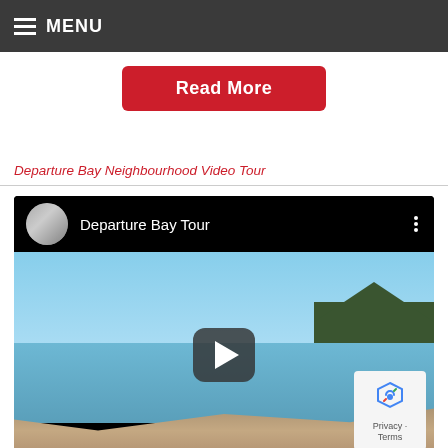MENU
Read More
Departure Bay Neighbourhood Video Tour
[Figure (screenshot): Embedded YouTube video player showing 'Departure Bay Tour' with a thumbnail of Departure Bay beach scene featuring blue sky, calm water, forested hills, and sandy shore. A play button overlay is visible in the center. A reCAPTCHA privacy badge appears in the lower right corner.]